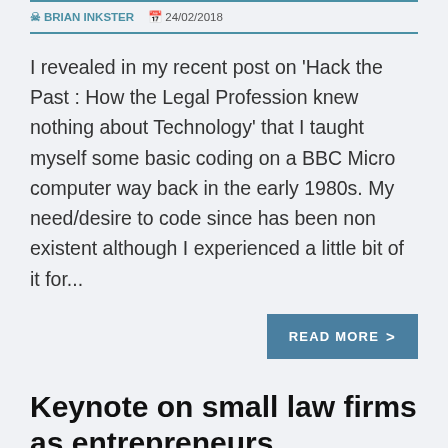BRIAN INKSTER   24/02/2018
I revealed in my recent post on 'Hack the Past : How the Legal Profession knew nothing about Technology' that I taught myself some basic coding on a BBC Micro computer way back in the early 1980s. My need/desire to code since has been non existent although I experienced a little bit of it for...
READ MORE
Keynote on small law firms as entrepreneurs